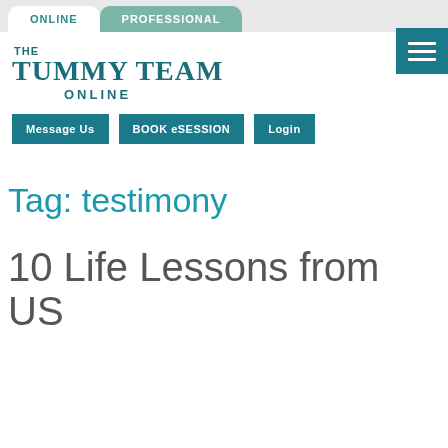ONLINE | PROFESSIONAL
THE TUMMY TEAM ONLINE
Message Us | BOOK eSESSION | Login
Tag: testimony
10 Life Lessons from US